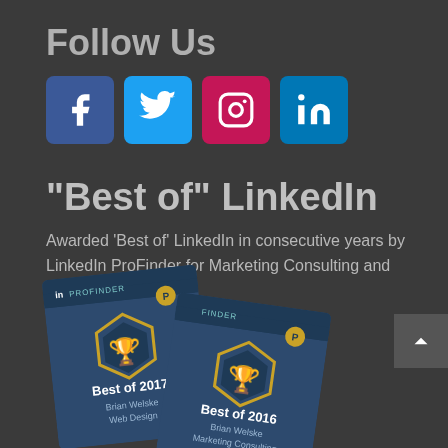Follow Us
[Figure (infographic): Social media icons: Facebook (blue), Twitter (light blue), Instagram (pink/red), LinkedIn (blue)]
“Best of” LinkedIn
Awarded 'Best of' LinkedIn in consecutive years by LinkedIn ProFinder for Marketing Consulting and Web Design.
[Figure (photo): Two LinkedIn ProFinder 'Best of' award badges: 'Best of 2017 - Brian Welske - Web Design' and 'Best of 2016 - Brian Welske - Marketing Consulting']